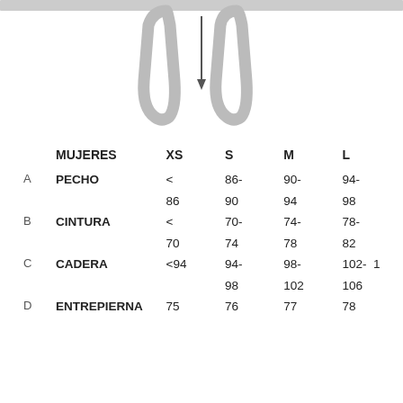[Figure (illustration): Two trouser leg outlines with a downward arrow between them, indicating an inseam measurement point]
|  | MUJERES | XS | S | M | L |
| --- | --- | --- | --- | --- | --- |
| A | PECHO | < 86 | 86-90 | 90-94 | 94-98 |
| B | CINTURA | < 70 | 70-74 | 74-78 | 78-82 |
| C | CADERA | <94 | 94-98 | 98-102 | 102-106 |
| D | ENTREPIERNA | 75 | 76 | 77 | 78 |